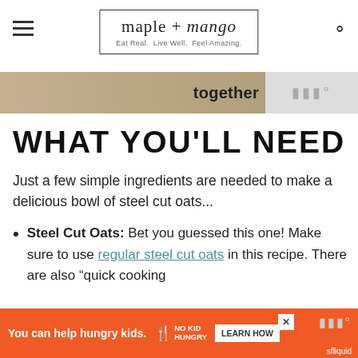maple + mango — Eat Real. Live Well. Feel Amazing.
[Figure (photo): Partial banner photo with the word 'together' and a logo watermark on the right]
WHAT YOU'LL NEED
Just a few simple ingredients are needed to make a delicious bowl of steel cut oats...
Steel Cut Oats: Bet you guessed this one! Make sure to use regular steel cut oats in this recipe. There are also "quick cooking
[Figure (screenshot): Advertisement banner: 'You can help hungry kids.' No Kid Hungry. LEARN HOW button.]